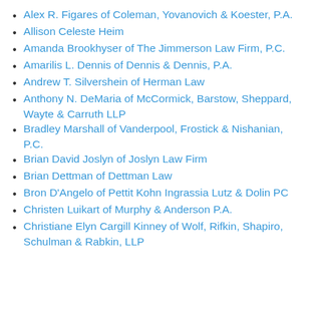Alex R. Figares of Coleman, Yovanovich & Koester, P.A.
Allison Celeste Heim
Amanda Brookhyser of The Jimmerson Law Firm, P.C.
Amarilis L. Dennis of Dennis & Dennis, P.A.
Andrew T. Silvershein of Herman Law
Anthony N. DeMaria of McCormick, Barstow, Sheppard, Wayte & Carruth LLP
Bradley Marshall of Vanderpool, Frostick & Nishanian, P.C.
Brian David Joslyn of Joslyn Law Firm
Brian Dettman of Dettman Law
Bron D'Angelo of Pettit Kohn Ingrassia Lutz & Dolin PC
Christen Luikart of Murphy & Anderson P.A.
Christiane Elyn Cargill Kinney of Wolf, Rifkin, Shapiro, Schulman & Rabkin, LLP